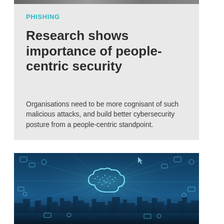[Figure (photo): Top strip: dark/grey background image strip at top of card]
PHISHING
Research shows importance of people-centric security
Organisations need to be more cognisant of such malicious attacks, and build better cybersecurity posture from a people-centric standpoint.
[Figure (illustration): Digital cloud computing concept: glowing cloud icon with connected nodes and icons over a city skyline, blue-toned illustration]